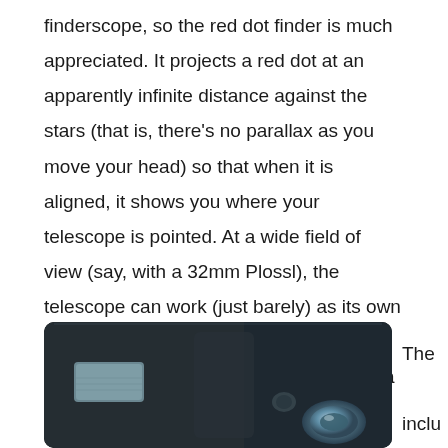finderscope, so the red dot finder is much appreciated. It projects a red dot at an apparently infinite distance against the stars (that is, there's no parallax as you move your head) so that when it is aligned, it shows you where your telescope is pointed. At a wide field of view (say, with a 32mm Plossl), the telescope can work (just barely) as its own finder-scope, showing you a rich field full of the asterisms you need to star-hop to a target.
[Figure (photo): Close-up photo of telescope equipment showing dark metal body with eyepiece/lens components visible]
The inclu